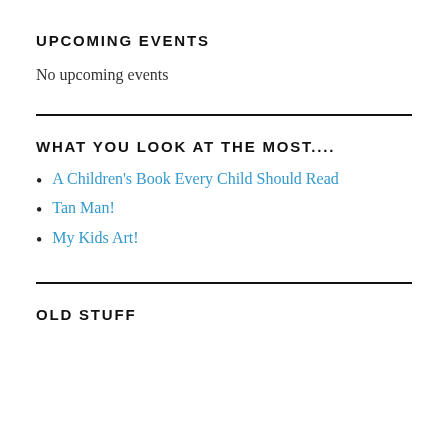UPCOMING EVENTS
No upcoming events
WHAT YOU LOOK AT THE MOST....
A Children's Book Every Child Should Read
Tan Man!
My Kids Art!
OLD STUFF